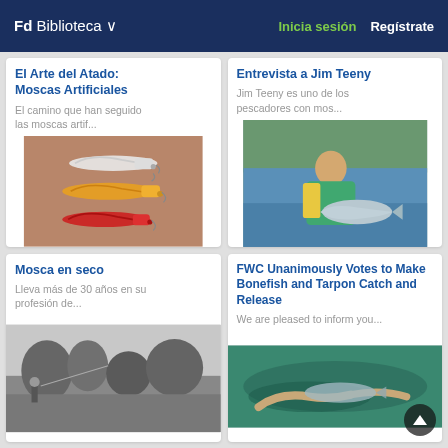Fd Biblioteca ∨   Inicia sesión   Regístrate
El Arte del Atado: Moscas Artificiales
El camino que han seguido las moscas artif...
[Figure (photo): Three artificial fishing flies (streamers) on a brown background: white/gray on top, yellow/orange in middle, red on bottom]
Entrevista a Jim Teeny
Jim Teeny es uno de los pescadores con mos...
[Figure (photo): Man in yellow shirt and teal fishing vest holding a large salmon, standing in a river with green tree line in background]
Mosca en seco
Lleva más de 30 años en su profesión de...
[Figure (photo): Black and white historical photo of fly fishing scene outdoors]
FWC Unanimously Votes to Make Bonefish and Tarpon Catch and Release
We are pleased to inform you...
[Figure (photo): Underwater/water-level photo of hands releasing a bonefish or tarpon into teal/green water]